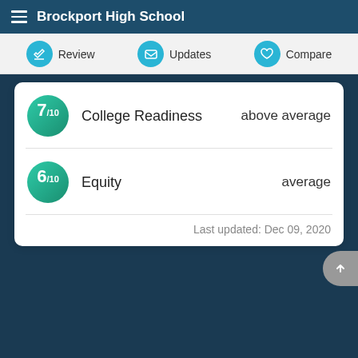Brockport High School
Review
Updates
Compare
| Score | Category | Rating |
| --- | --- | --- |
| 7/10 | College Readiness | above average |
| 6/10 | Equity | average |
Last updated: Dec 09, 2020